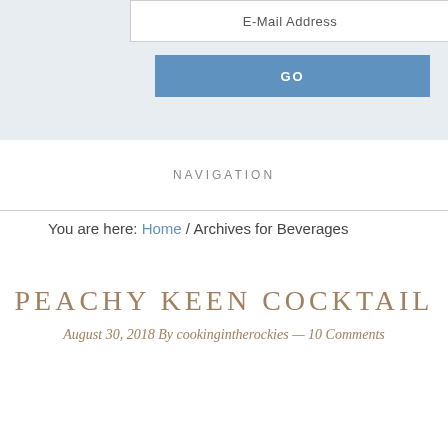E-Mail Address
GO
NAVIGATION
You are here: Home / Archives for Beverages
PEACHY KEEN COCKTAIL
August 30, 2018 By cookingintherockies — 10 Comments